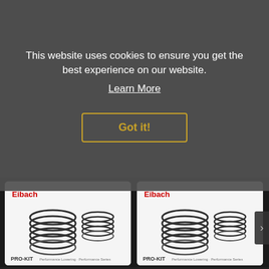This website uses cookies to ensure you get the best experience on our website.
Learn More
Got it!
RTR Vehicles
RTR Tactical Performance Lowering Springs for Mustang 2015-21 | #393987
£322.95
Eibach
Eibach 'Pro-Kit' Spring Kit (Set of 4) for Mustang 2.3L Ecoboost / 3.7L V6 2015-17 | #35147.140
£336.00
[Figure (photo): Eibach PRO-KIT lowering springs set of 4 coil springs on white background]
[Figure (photo): Eibach PRO-KIT lowering springs set of 4 coil springs on white background]